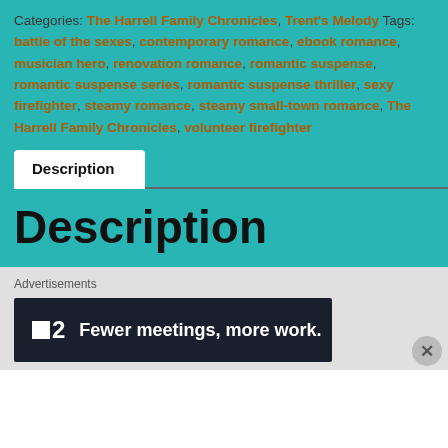Categories: The Harrell Family Chronicles, Trent's Melody Tags: battle of the sexes, contemporary romance, ebook romance, musician hero, renovation romance, romantic suspense, romantic suspense series, romantic suspense thriller, sexy firefighter, steamy romance, steamy small-town romance, The Harrell Family Chronicles, volunteer firefighter
Description
Description
Advertisements
[Figure (other): Advertisement banner with logo showing a square icon and '2', and text 'Fewer meetings, more work.' on dark navy background]